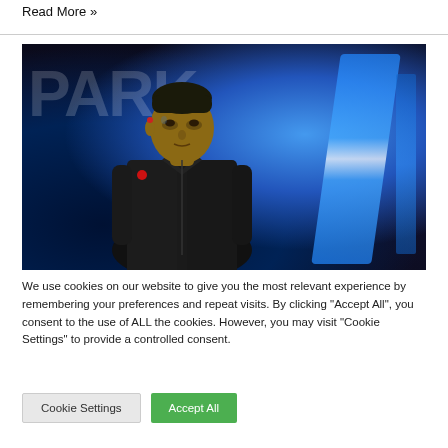Read More »
[Figure (photo): Screenshot from a video game showing a male android character in a dark jacket looking upward, standing in front of a neon-lit sign reading PARK in a futuristic city setting.]
We use cookies on our website to give you the most relevant experience by remembering your preferences and repeat visits. By clicking "Accept All", you consent to the use of ALL the cookies. However, you may visit "Cookie Settings" to provide a controlled consent.
Cookie Settings
Accept All